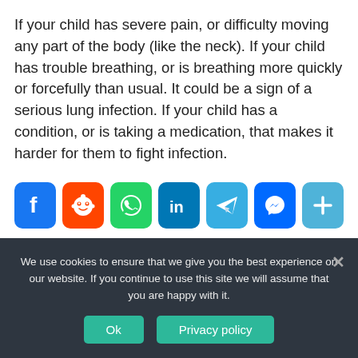If your child has severe pain, or difficulty moving any part of the body (like the neck). If your child has trouble breathing, or is breathing more quickly or forcefully than usual. It could be a sign of a serious lung infection. If your child has a condition, or is taking a medication, that makes it harder for them to fight infection.
[Figure (infographic): Row of social media sharing icons: Facebook (blue), Reddit (orange), WhatsApp (green), LinkedIn (blue-teal), Telegram (light blue), Messenger (blue), Share/More (light blue)]
We use cookies to ensure that we give you the best experience on our website. If you continue to use this site we will assume that you are happy with it.